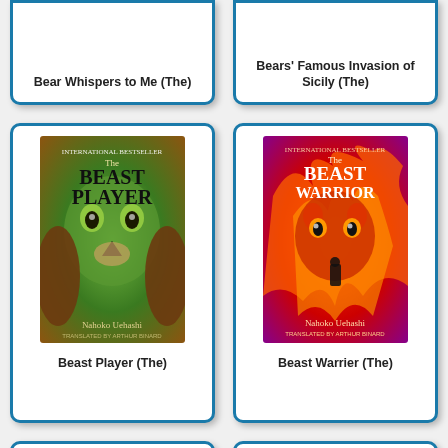[Figure (illustration): Book card (partially visible, cropped at top) for 'Bear Whispers to Me (The)']
Bear Whispers to Me (The)
[Figure (illustration): Book card (partially visible, cropped at top) for 'Bears' Famous Invasion of Sicily (The)']
Bears' Famous Invasion of Sicily (The)
[Figure (illustration): Book cover of 'The Beast Player' by Nahoko Uehashi — green and brown animal face]
Beast Player (The)
[Figure (illustration): Book cover of 'The Beast Warrior' by Nahoko Uehashi — red/orange flaming fox creature]
Beast Warrier (The)
[Figure (illustration): Book card (partially visible, cropped at bottom) — blue book cover]
[Figure (illustration): Book card (partially visible, cropped at bottom) — The Befana's Toyshop cover]